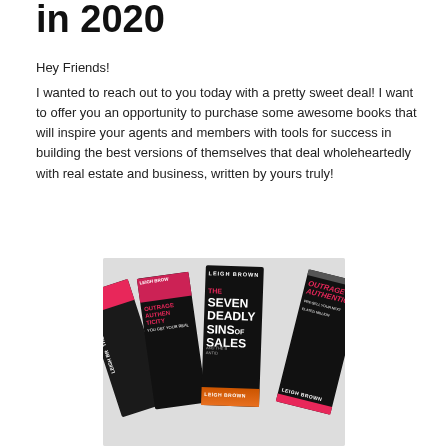in 2020
Hey Friends!
I wanted to reach out to you today with a pretty sweet deal! I want to offer you an opportunity to purchase some awesome books that will inspire your agents and members with tools for success in building the best versions of themselves that deal wholeheartedly with real estate and business, written by yours truly!
[Figure (photo): Fan of four books by Leigh Brown including 'The Seven Deadly Sins of Sales' and 'Outrageous Authenticity', displayed on a light gray surface]